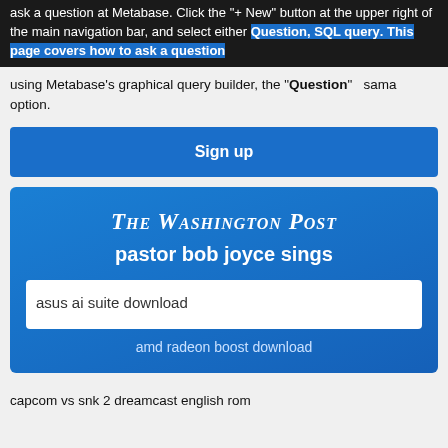ask a question at Metabase. Click the "+ New" button at the upper right of the main navigation bar, and select either Question, SQL query. This page covers how to ask a question using Metabase's graphical query builder, the "Question" option.
[Figure (screenshot): Sign up button - blue rectangular button with white bold text 'Sign up']
[Figure (screenshot): Washington Post advertisement box with gradient blue background, title 'The Washington Post', subtitle 'pastor bob joyce sings', search input showing 'asus ai suite download', and footer text 'amd radeon boost download']
capcom vs snk 2 dreamcast english rom